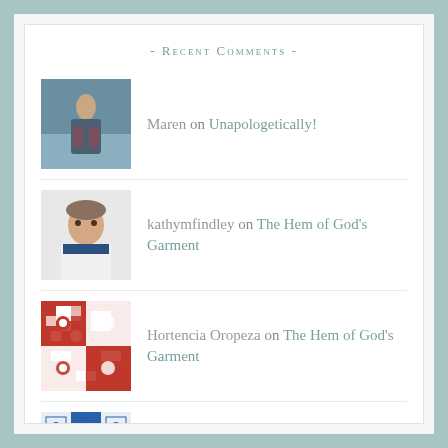- Recent Comments -
Maren on Unapologetically!
kathymfindley on The Hem of God's Garment
Hortencia Oropeza on The Hem of God's Garment
annkatroshotmailcom on My Body, My Choice!
Maren on Palms and Cheers of Hosanna! P...